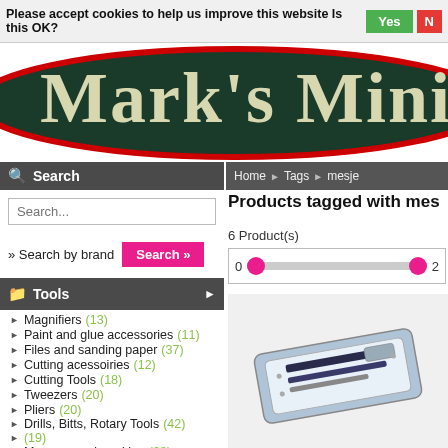Please accept cookies to help us improve this website Is this OK? Yes No
[Figure (logo): Mark's Miniatures logo — dark green oval with red border and large cream text reading Mark's Miniatu (cropped)]
Home ▶ Tags ▶ mesje
Search
Search...
» Search by brand  Search »
Tools
Magnifiers (13)
Paint and glue accessories (11)
Files and sanding paper (37)
Cutting acessoiries (12)
Cutting Tools (18)
Tweezers (20)
Pliers (20)
Drills, Bitts, Rotary Tools (42)
(19)
Measure and marking (28)
Clamps and vices (38)
Products tagged with mes
6 Product(s)
[Figure (photo): Product photo: a plastic case containing miniature cutting tools/knives with blades, viewed at an angle]